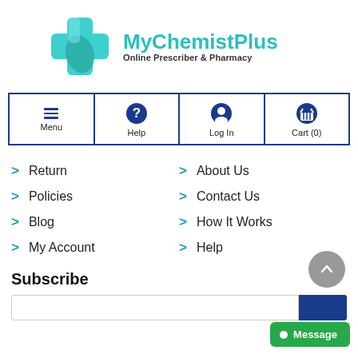[Figure (logo): MyChemistPlus logo: teal/cyan cross shape with leaf, beside text 'MyChemistPlus' and 'Online Prescriber & Pharmacy']
[Figure (screenshot): Navigation bar with four items: Menu (hamburger icon), Help (question mark icon), Log In (user icon), Cart (0) (basket icon), all outlined in dark blue border]
Return
Policies
Blog
My Account
About Us
Contact Us
How It Works
Help
Subscribe